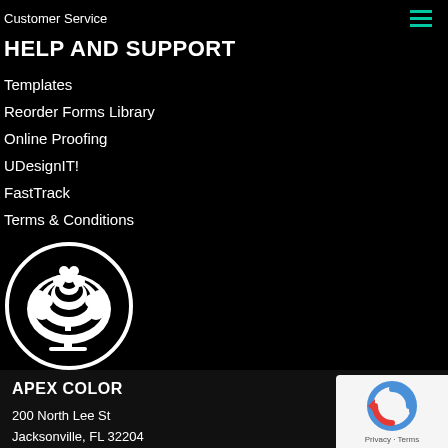Customer Service
HELP AND SUPPORT
Templates
Reorder Forms Library
Online Proofing
UDesignIT!
FastTrack
Terms & Conditions
[Figure (logo): Print Grows Trees logo: white tree in a circle on black background]
Print Grows Trees
Learn More
APEX COLOR
200 North Lee St
Jacksonville, FL 32204